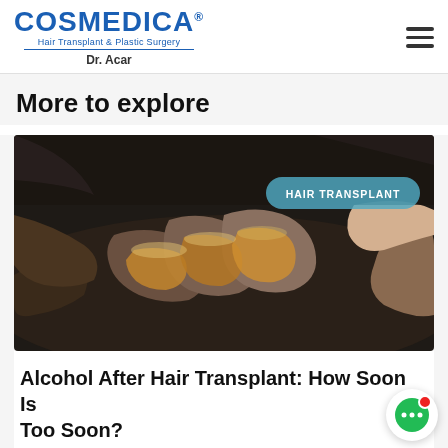COSMEDICA® Hair Transplant & Plastic Surgery Dr. Acar
More to explore
[Figure (photo): People clinking glasses of whiskey/alcohol together at a dark table, viewed from above. A teal badge reads 'HAIR TRANSPLANT' in the upper right of the image.]
Alcohol After Hair Transplant: How Soon Is Too Soon?